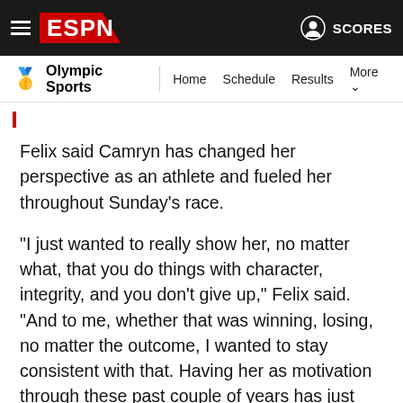ESPN - Olympic Sports - Home Schedule Results More
Felix said Camryn has changed her perspective as an athlete and fueled her throughout Sunday's race.
"I just wanted to really show her, no matter what, that you do things with character, integrity, and you don't give up," Felix said. "And to me, whether that was winning, losing, no matter the outcome, I wanted to stay consistent with that. Having her as motivation through these past couple of years has just given me a whole new drive."
In other results on Sunday, 39-year-old Justin Gatlin pulled up with a hamstring injury about halfway through the 100 men's final and finished last. Trayvon Bromell, Ronnie Baker and Fred Kerley finished in the top three spots, also leaving Noah